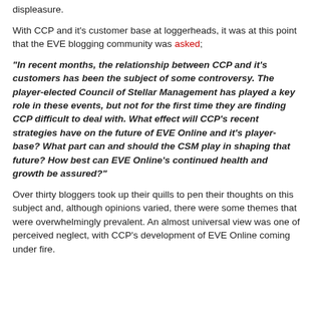displeasure.
With CCP and it's customer base at loggerheads, it was at this point that the EVE blogging community was asked;
"In recent months, the relationship between CCP and it's customers has been the subject of some controversy. The player-elected Council of Stellar Management has played a key role in these events, but not for the first time they are finding CCP difficult to deal with. What effect will CCP's recent strategies have on the future of EVE Online and it's player-base? What part can and should the CSM play in shaping that future? How best can EVE Online's continued health and growth be assured?"
Over thirty bloggers took up their quills to pen their thoughts on this subject and, although opinions varied, there were some themes that were overwhelmingly prevalent. An almost universal view was one of perceived neglect, with CCP's development of EVE Online coming under fire.